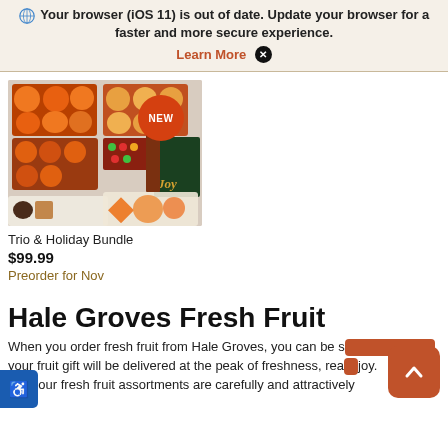Your browser (iOS 11) is out of date. Update your browser for a faster and more secure experience. Learn More X
[Figure (photo): Trio & Holiday Bundle product photo showing boxes of citrus fruits (oranges, tangerines), a JOY holiday gift box, cookies, chocolates, and sliced oranges on a white surface. A red 'NEW' badge is overlaid in the upper right of the image.]
Trio & Holiday Bundle
$99.99
Preorder for Nov
Hale Groves Fresh Fruit
When you order fresh fruit from Hale Groves, you can be sure your fruit gift will be delivered at the peak of freshness, ready to enjoy. s, all our fresh fruit assortments are carefully and attractively lknged as they look as good as they taste!